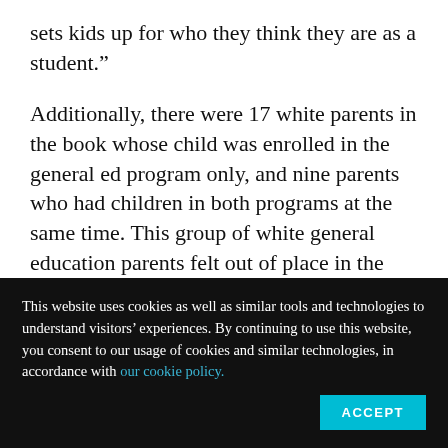sets kids up for who they think they are as a student.”
Additionally, there were 17 white parents in the book whose child was enrolled in the general ed program only, and nine parents who had children in both programs at the same time. This group of white general education parents felt out of place in the school because the programs are so segregated.
This website uses cookies as well as similar tools and technologies to understand visitors’ experiences. By continuing to use this website, you consent to our usage of cookies and similar technologies, in accordance with our cookie policy.